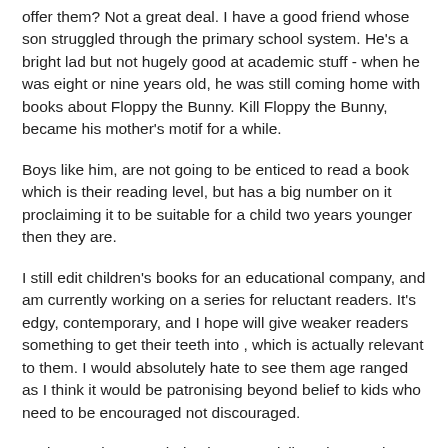offer them? Not a great deal. I have a good friend whose son struggled through the primary school system. He's a bright lad but not hugely good at academic stuff - when he was eight or nine years old, he was still coming home with books about Floppy the Bunny. Kill Floppy the Bunny, became his mother's motif for a while.
Boys like him, are not going to be enticed to read a book which is their reading level, but has a big number on it proclaiming it to be suitable for a child two years younger then they are.
I still edit children's books for an educational company, and am currently working on a series for reluctant readers. It's edgy, contemporary, and I hope will give weaker readers something to get their teeth into , which is actually relevant to them. I would absolutely hate to see them age ranged as I think it would be patronising beyond belief to kids who need to be encouraged not discouraged.
During my time at Scholastic I was privileged to run the Point Horror list, which at the time was the top selling list for